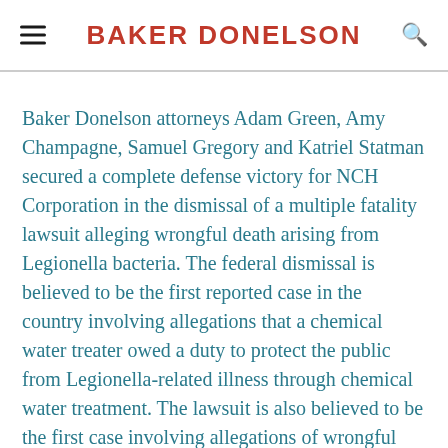BAKER DONELSON
Baker Donelson attorneys Adam Green, Amy Champagne, Samuel Gregory and Katriel Statman secured a complete defense victory for NCH Corporation in the dismissal of a multiple fatality lawsuit alleging wrongful death arising from Legionella bacteria. The federal dismissal is believed to be the first reported case in the country involving allegations that a chemical water treater owed a duty to protect the public from Legionella-related illness through chemical water treatment. The lawsuit is also believed to be the first case involving allegations of wrongful death arising from Legionella exposure in Mississippi.